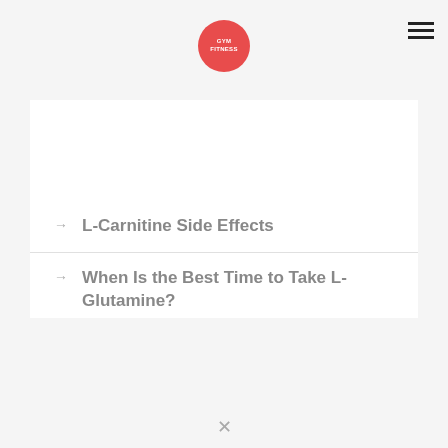GYM FITNESS (logo)
L-Carnitine Side Effects
When Is the Best Time to Take L-Glutamine?